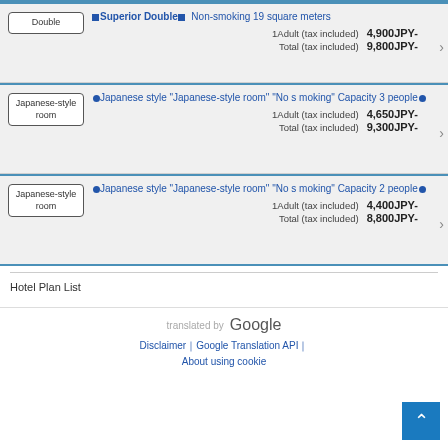Superior Double  Non-smoking 19 square meters | 1Adult (tax included) 4,900JPY- | Total (tax included) 9,800JPY-
Japanese style "Japanese-style room" "No smoking" Capacity 3 people | 1Adult (tax included) 4,650JPY- | Total (tax included) 9,300JPY-
Japanese style "Japanese-style room" "No smoking" Capacity 2 people | 1Adult (tax included) 4,400JPY- | Total (tax included) 8,800JPY-
Hotel Plan List
translated by Google
Disclaimer｜Google Translation API｜
About using cookie